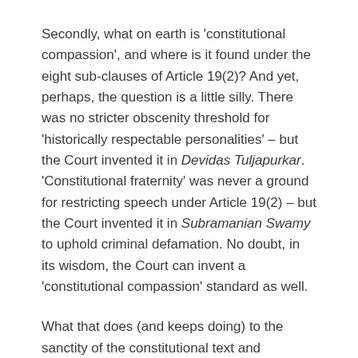Secondly, what on earth is 'constitutional compassion', and where is it found under the eight sub-clauses of Article 19(2)? And yet, perhaps, the question is a little silly. There was no stricter obscenity threshold for 'historically respectable personalities' – but the Court invented it in Devidas Tuljapurkar. 'Constitutional fraternity' was never a ground for restricting speech under Article 19(2) – but the Court invented it in Subramanian Swamy to uphold criminal defamation. No doubt, in its wisdom, the Court can invent a 'constitutional compassion' standard as well.
What that does (and keeps doing) to the sanctity of the constitutional text and structure is another matter.